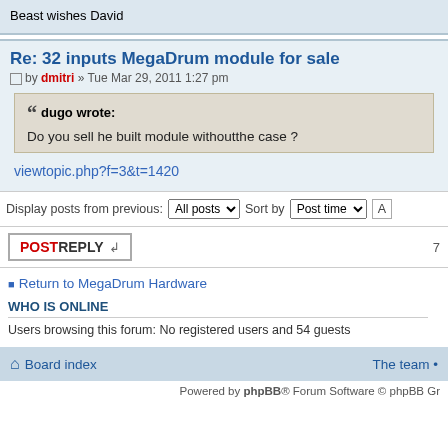Beast wishes David
Re: 32 inputs MegaDrum module for sale
by dmitri » Tue Mar 29, 2011 1:27 pm
dugo wrote: Do you sell he built module withoutthe case ?
viewtopic.php?f=3&t=1420
Display posts from previous: All posts Sort by Post time
POSTREPLY
Return to MegaDrum Hardware
WHO IS ONLINE
Users browsing this forum: No registered users and 54 guests
Board index
The team •
Powered by phpBB® Forum Software © phpBB Gr